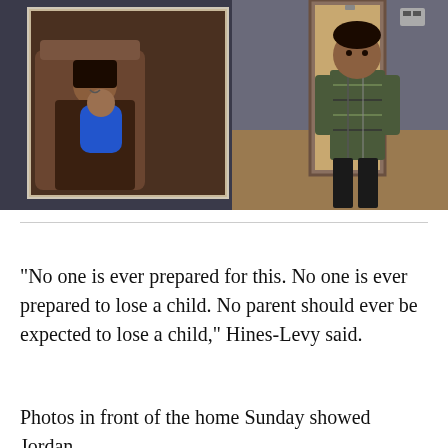[Figure (photo): Two photos side by side: left shows a woman holding a baby dressed in blue; right shows a young boy in a plaid shirt standing in front of a doorway.]
"No one is ever prepared for this. No one is ever prepared to lose a child. No parent should ever be expected to lose a child," Hines-Levy said.
Photos in front of the home Sunday showed Jordan